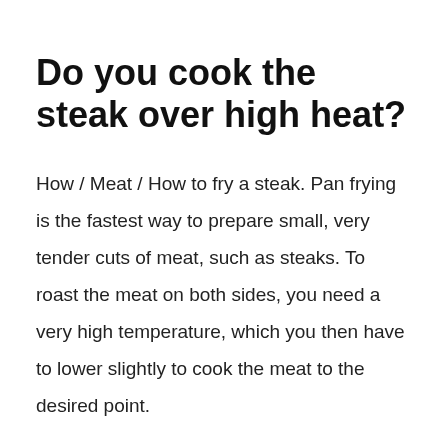Do you cook the steak over high heat?
How / Meat / How to fry a steak. Pan frying is the fastest way to prepare small, very tender cuts of meat, such as steaks. To roast the meat on both sides, you need a very high temperature, which you then have to lower slightly to cook the meat to the desired point.
How do you know when a